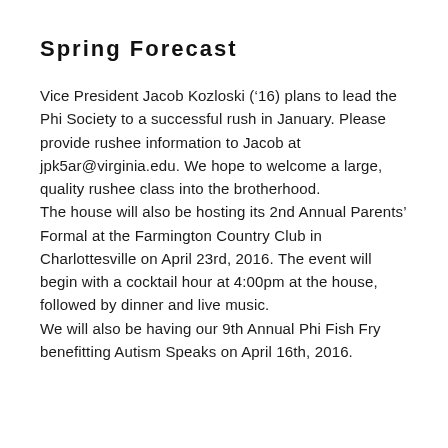Spring Forecast
Vice President Jacob Kozloski ('’16) plans to lead the Phi Society to a successful rush in January. Please provide rushee information to Jacob at jpk5ar@virginia.edu. We hope to welcome a large, quality rushee class into the brotherhood.
The house will also be hosting its 2nd Annual Parents’ Formal at the Farmington Country Club in Charlottesville on April 23rd, 2016. The event will begin with a cocktail hour at 4:00pm at the house, followed by dinner and live music.
We will also be having our 9th Annual Phi Fish Fry benefitting Autism Speaks on April 16th, 2016.